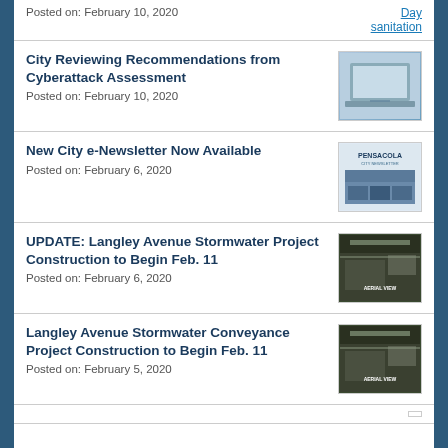Posted on: February 10, 2020
Day sanitation
City Reviewing Recommendations from Cyberattack Assessment
Posted on: February 10, 2020
[Figure (photo): Laptop computer photo]
New City e-Newsletter Now Available
Posted on: February 6, 2020
[Figure (photo): Pensacola city newsletter cover image]
UPDATE: Langley Avenue Stormwater Project Construction to Begin Feb. 11
Posted on: February 6, 2020
[Figure (photo): Aerial view of Langley Avenue stormwater project area]
Langley Avenue Stormwater Conveyance Project Construction to Begin Feb. 11
Posted on: February 5, 2020
[Figure (photo): Aerial view of Langley Avenue stormwater conveyance project area]